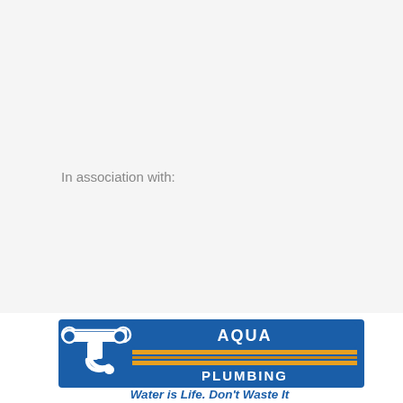In association with:
[Figure (logo): Aqua Plumbing logo with a faucet/tap icon, dark blue background with 'AQUA' text on top and 'PLUMBING' on bottom, gold/orange horizontal stripes in the middle, and tagline 'Water is Life, Don't Waste It' below in blue italic text.]